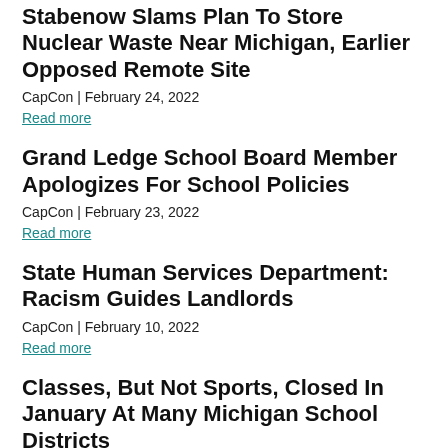Stabenow Slams Plan To Store Nuclear Waste Near Michigan, Earlier Opposed Remote Site
CapCon | February 24, 2022
Read more
Grand Ledge School Board Member Apologizes For School Policies
CapCon | February 23, 2022
Read more
State Human Services Department: Racism Guides Landlords
CapCon | February 10, 2022
Read more
Classes, But Not Sports, Closed In January At Many Michigan School Districts